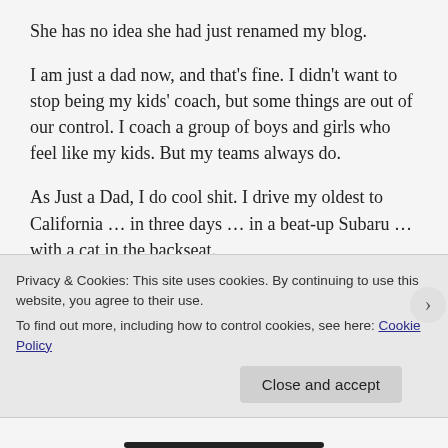She has no idea she had just renamed my blog.
I am just a dad now, and that's fine. I didn't want to stop being my kids' coach, but some things are out of our control. I coach a group of boys and girls who feel like my kids. But my teams always do.
As Just a Dad, I do cool shit. I drive my oldest to California … in three days … in a beat-up Subaru … with a cat in the backseat.
As Just a Dad, I'll go to my middle daughter's match in the middle of the week, and get easily talked into Mexican
Privacy & Cookies: This site uses cookies. By continuing to use this website, you agree to their use.
To find out more, including how to control cookies, see here: Cookie Policy